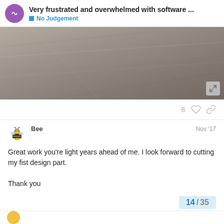Very frustrated and overwhelmed with software ... | No Judgement
[Figure (photo): Close-up photo of wrinkled grey/beige fabric or linen, with an expand/fullscreen button in the bottom-right corner]
8 ♡ 🔗
Bee  Nov '17
Great work you're light years ahead of me. I look forward to cutting my fist design part.

Thank you
2 ♡ 🔗
14 / 35